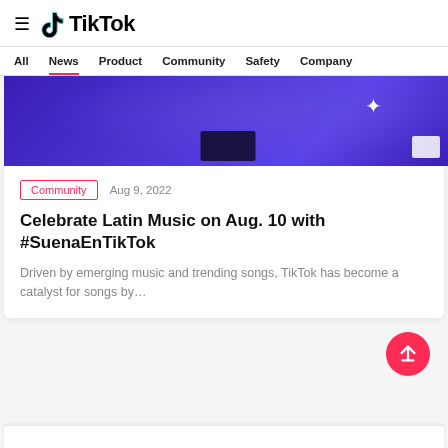TikTok
All  News  Product  Community  Safety  Company
[Figure (illustration): Blue/purple gradient banner image with a white sparkle/star shape and dark and white rectangles at bottom center]
Community  Aug 9, 2022
Celebrate Latin Music on Aug. 10 with #SuenaEnTikTok
Driven by emerging music and trending songs, TikTok has become a catalyst for songs by…